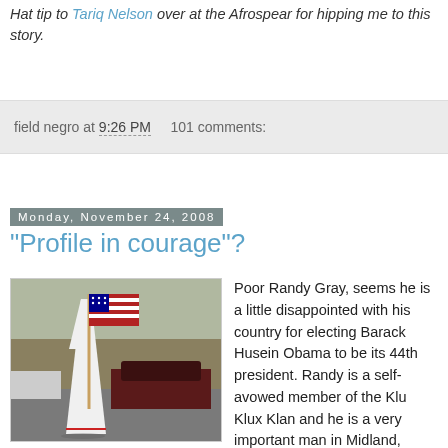Hat tip to Tariq Nelson over at the Afrospear for hipping me to this story.
field negro at 9:26 PM   101 comments:
Monday, November 24, 2008
"Profile in courage"?
[Figure (photo): A person wearing white KKK robes and hood, holding an American flag, standing on a street with cars and bare trees in the background.]
Poor Randy Gray, seems he is a little disappointed with his country for electing Barack Husein Obama to be its 44th president. Randy is a self-avowed member of the Klu Klux Klan and he is a very important man in Midland, Michigan. Yes, it seems that old Randy is a precinct delegate for the Republican party in his